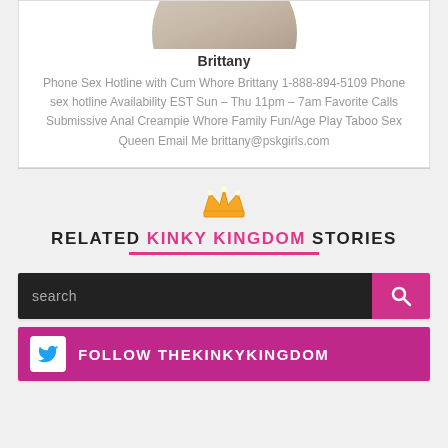[Figure (photo): Partial photo of a person (Brittany), cropped at top showing hair/shoulders]
Brittany
Phone Sex Hotline with Cum Whore Brittany 1-888-894-5109 Phone sex hotline Availability EST Sun – Thu 11pm – 7am Favorite Calls Submissive Anal Creampie Whore Family Fun/Age Play Taboo Sex Queen Email Me brittany@pskgirls.com
RELATED KINKY KINGDOM STORIES
search
FOLLOW THEKINKYKINGDOM